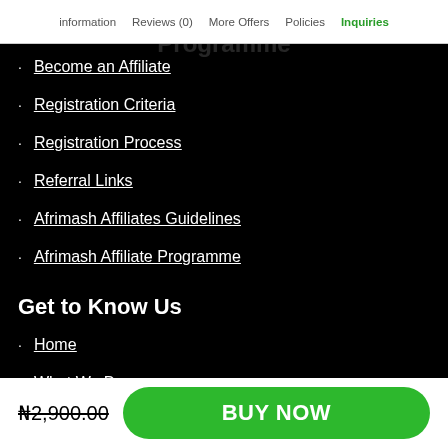information  Reviews (0)  More Offers  Policies  Inquiries
Become an Affiliate
Registration Criteria
Registration Process
Referral Links
Afrimash Affiliates Guidelines
Afrimash Affiliate Programme
Get to Know Us
Home
What We Do
Team
₦2,900.00  BUY NOW